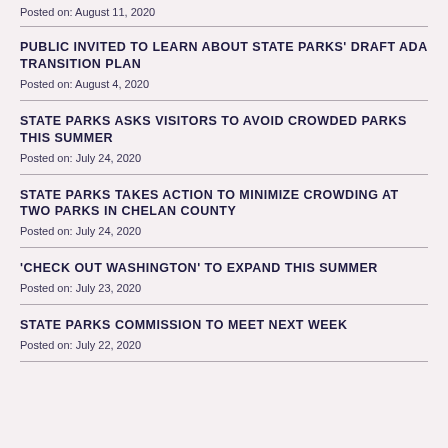Posted on: August 11, 2020
PUBLIC INVITED TO LEARN ABOUT STATE PARKS' DRAFT ADA TRANSITION PLAN
Posted on: August 4, 2020
STATE PARKS ASKS VISITORS TO AVOID CROWDED PARKS THIS SUMMER
Posted on: July 24, 2020
STATE PARKS TAKES ACTION TO MINIMIZE CROWDING AT TWO PARKS IN CHELAN COUNTY
Posted on: July 24, 2020
'CHECK OUT WASHINGTON' TO EXPAND THIS SUMMER
Posted on: July 23, 2020
STATE PARKS COMMISSION TO MEET NEXT WEEK
Posted on: July 22, 2020